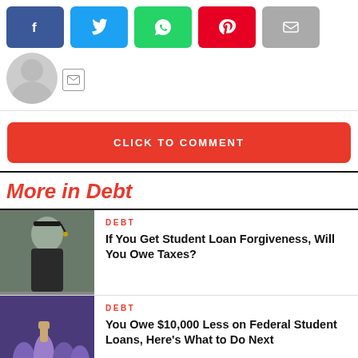[Figure (other): Social media share buttons: Facebook (blue), Twitter (cyan), WhatsApp (green), Pinterest (red), Email (grey)]
[Figure (other): Author avatar placeholder circle with grey silhouette and small mail icon button]
CLICK TO COMMENT
More in Debt
[Figure (photo): Graduate in cap and gown smiling and celebrating]
DEBT
If You Get Student Loan Forgiveness, Will You Owe Taxes?
[Figure (photo): Crowd of graduates in purple robes celebrating with fists raised]
DEBT
You Owe $10,000 Less on Federal Student Loans, Here's What to Do Next